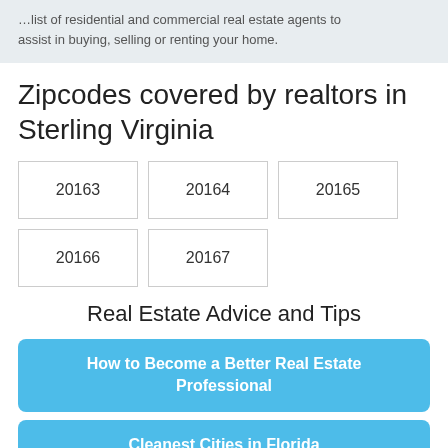assist in buying, selling or renting your home.
Zipcodes covered by realtors in Sterling Virginia
20163
20164
20165
20166
20167
Real Estate Advice and Tips
How to Become a Better Real Estate Professional
Cleanest Cities in Florida
5 Ways BREXIT Could Affect the U.S. Real...